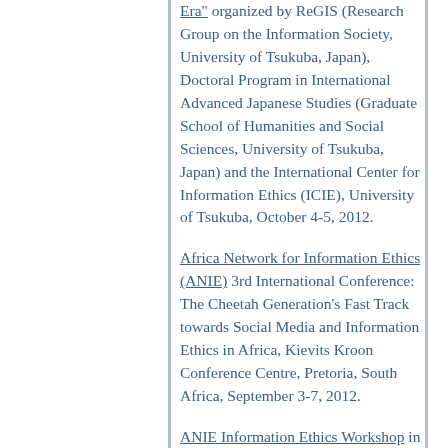Era" organized by ReGIS (Research Group on the Information Society, University of Tsukuba, Japan), Doctoral Program in International Advanced Japanese Studies (Graduate School of Humanities and Social Sciences, University of Tsukuba, Japan) and the International Center for Information Ethics (ICIE), University of Tsukuba, October 4-5, 2012.
Africa Network for Information Ethics (ANIE) 3rd International Conference: The Cheetah Generation's Fast Track towards Social Media and Information Ethics in Africa, Kievits Kroon Conference Centre, Pretoria, South Africa, September 3-7, 2012.
ANIE Information Ethics Workshop in cooperation with SCECSAL XX Conference on Information for sustainable development in a digital environment. Nairobi (Kenya), 2.-3.